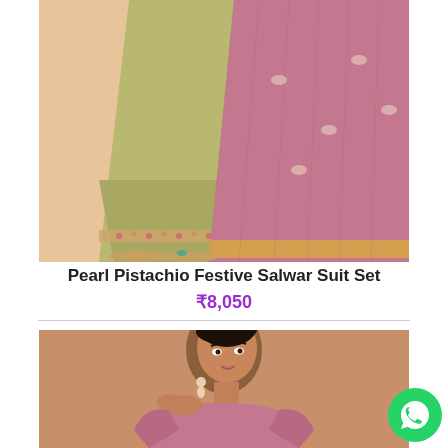[Figure (photo): Lower half of a model wearing a pearl pistachio (light olive green) festive salwar suit with embroidered hem and a pink/rose dupatta with gold border. Beige background. Model wearing gold sandals.]
Pearl Pistachio Festive Salwar Suit Set
₹8,050
[Figure (photo): Upper half of a model wearing a pink/rose festive outfit with earrings, posing against a warm tan/peach background.]
[Figure (logo): WhatsApp chat button (green circle with white phone/speech bubble icon)]